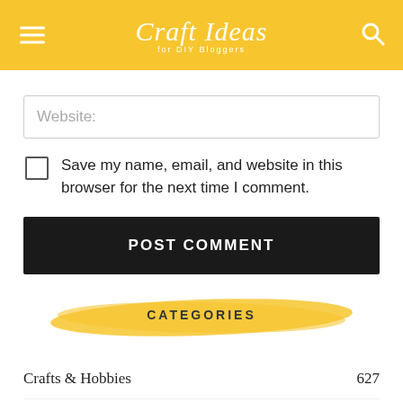Craft Ideas for DIY Bloggers
Website:
Save my name, email, and website in this browser for the next time I comment.
POST COMMENT
CATEGORIES
Crafts & Hobbies 627
Home Improvements 61
Reviews 135